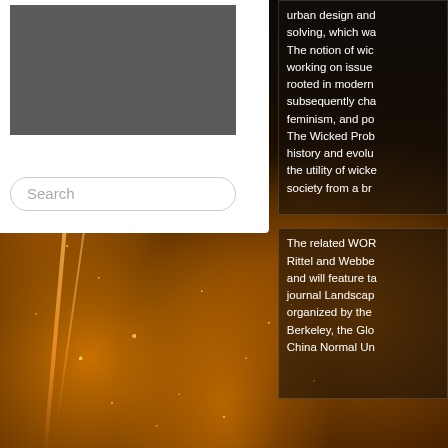[Figure (photo): White card UI overlay with grey image placeholder and search box, set against a night aerial city photograph with orange street lights]
urban design and solving, which wa The notion of wic working on issue rooted in modern subsequently cha feminism, and po The Wicked Prob history and evolu the utility of wicke society from a br
The related WOR Rittel and Webbe and will feature ta journal Landscap organized by the Berkeley, the Glo China Normal Un